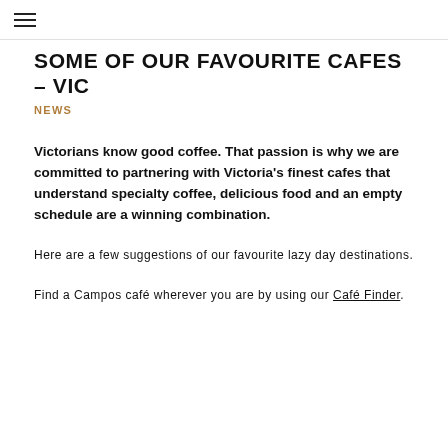SOME OF OUR FAVOURITE CAFES – VIC
NEWS
Victorians know good coffee. That passion is why we are committed to partnering with Victoria's finest cafes that understand specialty coffee, delicious food and an empty schedule are a winning combination.
Here are a few suggestions of our favourite lazy day destinations.
Find a Campos café wherever you are by using our Café Finder.